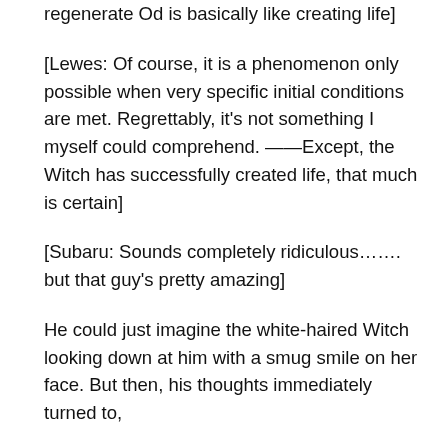regenerate Od is basically like creating life]
[Lewes: Of course, it is a phenomenon only possible when very specific initial conditions are met. Regrettably, it's not something I myself could comprehend. ——Except, the Witch has successfully created life, that much is certain]
[Subaru: Sounds completely ridiculous……. but that guy's pretty amazing]
He could just imagine the white-haired Witch looking down at him with a smug smile on her face. But then, his thoughts immediately turned to,
[Subaru: Wait, but Daphne could also create Mabeasts. Unless creating life is just surprisingly easy for Witches? It's not as rare as I thought]
He could almost hear the white-haired Witch